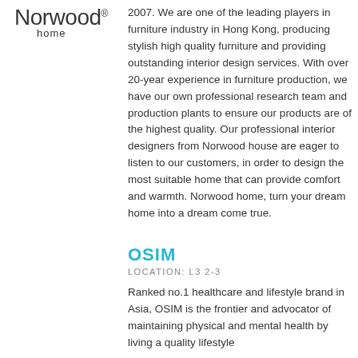[Figure (logo): Norwood home logo — wordmark with registered trademark symbol and 'home' subtitle]
2007. We are one of the leading players in furniture industry in Hong Kong, producing stylish high quality furniture and providing outstanding interior design services. With over 20-year experience in furniture production, we have our own professional research team and production plants to ensure our products are of the highest quality. Our professional interior designers from Norwood house are eager to listen to our customers, in order to design the most suitable home that can provide comfort and warmth. Norwood home, turn your dream home into a dream come true.
OSIM
LOCATION: L3 2-3
Ranked no.1 healthcare and lifestyle brand in Asia, OSIM is the frontier and advocator of maintaining physical and mental health by living a quality lifestyle